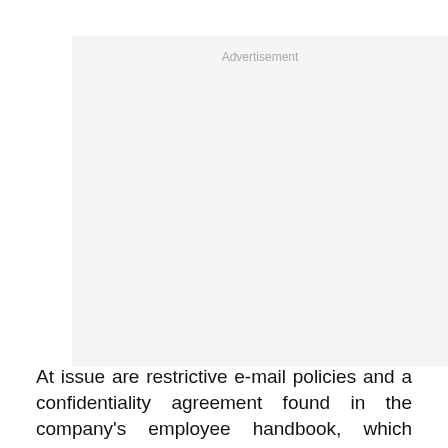[Figure (other): Advertisement placeholder box with light gray background and 'Advertisement' label at top center]
At issue are restrictive e-mail policies and a confidentiality agreement found in the company's employee handbook, which prevented workers from talking with one another and with the media. Dibble ruled that the policies were illegal and ordered T-Mobile to post a notice to the staff reaffirming their